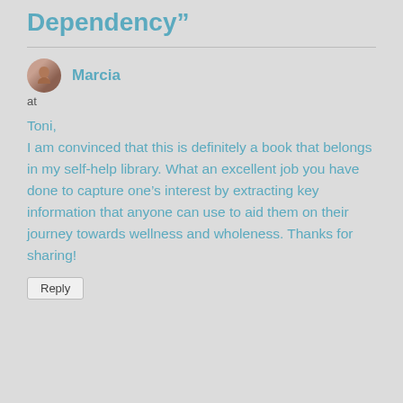Dependency”
Marcia
at
Toni,
I am convinced that this is definitely a book that belongs in my self-help library. What an excellent job you have done to capture one’s interest by extracting key information that anyone can use to aid them on their journey towards wellness and wholeness. Thanks for sharing!
Reply